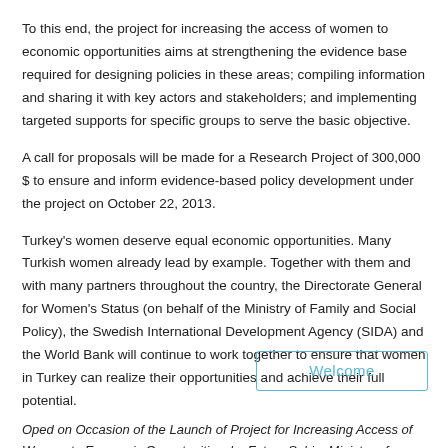To this end, the project for increasing the access of women to economic opportunities aims at strengthening the evidence base required for designing policies in these areas; compiling information and sharing it with key actors and stakeholders; and implementing targeted supports for specific groups to serve the basic objective.
A call for proposals will be made for a Research Project of 300,000 $ to ensure and inform evidence-based policy development under the project on October 22, 2013.
Turkey's women deserve equal economic opportunities. Many Turkish women already lead by example. Together with them and with many partners throughout the country, the Directorate General for Women's Status (on behalf of the Ministry of Family and Social Policy), the Swedish International Development Agency (SIDA) and the World Bank will continue to work together to ensure that women in Turkey can realize their opportunities and achieve their full potential.
[Figure (other): Welcome button — a rectangular box with light blue border containing the word 'Welcome' in light blue text]
Oped on Occasion of the Launch of Project for Increasing Access of Women to Economic Opportunities, by Fatma Sahin, Minister of Family and Social